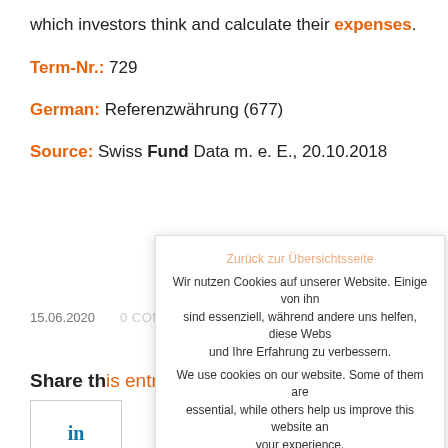which investors think and calculate their expenses.
Term-Nr.: 729
German: Referenzwährung (677)
Source: Swiss Fund Data m. e. E., 20.10.2018
15.06.2020
0 COMMENTS
Share this entry
Wir nutzen Cookies auf unserer Website. Einige von ihn sind essenziell, während andere uns helfen, diese Webs und Ihre Erfahrung zu verbessern. We use cookies on our website. Some of them are essential, while others help us improve this website and your experience.
Zurück zur Übersichtsseite
OK
Settings